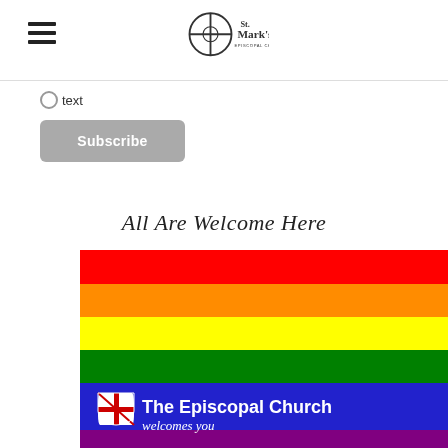St. Mark's Episcopal Church
○text
Subscribe
All Are Welcome Here
[Figure (illustration): Rainbow pride flag with six horizontal stripes (red, orange, yellow, green, blue, purple) and a blue band at the bottom with The Episcopal Church shield logo and text 'The Episcopal Church welcomes you']